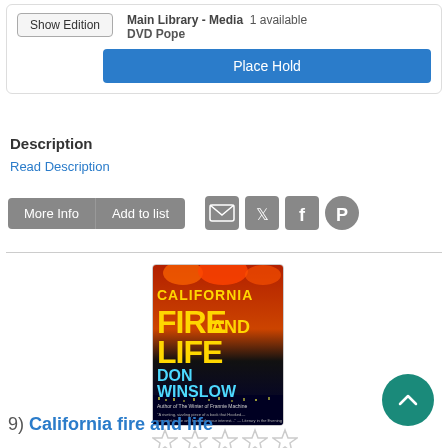Main Library - Media  1 available
DVD Pope
Place Hold
Description
Read Description
More Info | Add to list
[Figure (screenshot): Social sharing icons: email, Twitter, Facebook, Pinterest]
[Figure (photo): Book cover: California Fire and Life by Don Winslow. Cover shows fire and city lights with bold yellow and blue text.]
[Figure (other): Five empty star rating icons]
9)  California fire and life